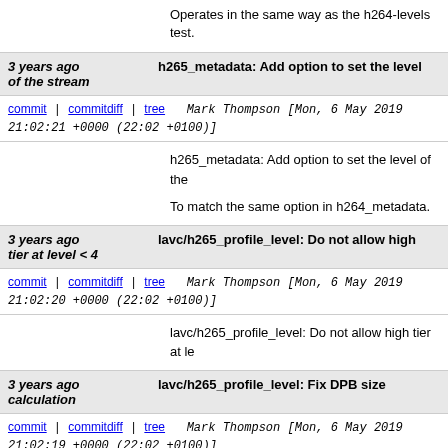Operates in the same way as the h264-levels test.
3 years ago   h265_metadata: Add option to set the level of the stream
commit | commitdiff | tree   Mark Thompson [Mon, 6 May 2019 21:02:21 +0000 (22:02 +0100)]
h265_metadata: Add option to set the level of the

To match the same option in h264_metadata.
3 years ago   lavc/h265_profile_level: Do not allow high tier at level < 4
commit | commitdiff | tree   Mark Thompson [Mon, 6 May 2019 21:02:20 +0000 (22:02 +0100)]
lavc/h265_profile_level: Do not allow high tier at le
3 years ago   lavc/h265_profile_level: Fix DPB size calculation
commit | commitdiff | tree   Mark Thompson [Mon, 6 May 2019 21:02:19 +0000 (22:02 +0100)]
lavc/h265_profile_level: Fix DPB size calculation